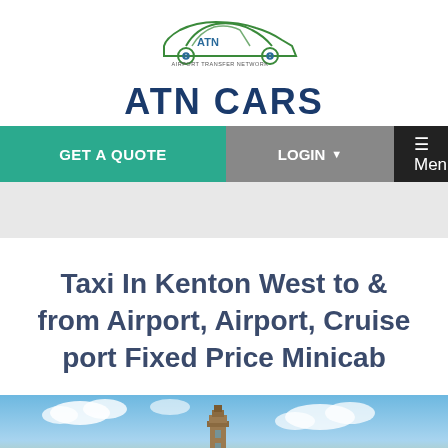[Figure (logo): ATN CARS Airport Transfer Network logo — car silhouette outline in green with ATN text and a wheel icon, above the bold blue text ATN CARS]
GET A QUOTE   LOGIN ▼   ☰ Menu
Taxi In Kenton West to & from Airport, Airport, Cruise port Fixed Price Minicab
[Figure (photo): Sky with clouds and a historic tower or building in the lower center, photographed from below]